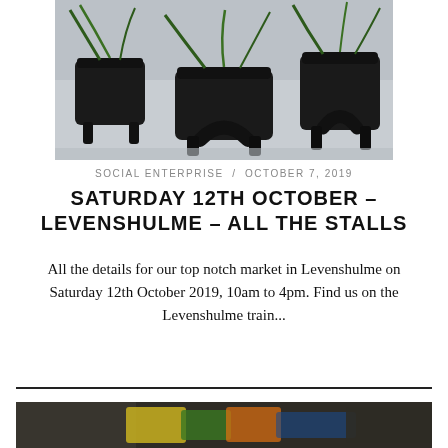[Figure (photo): Three black ceramic plant pots with small legs, containing green plants, on a light background.]
SOCIAL ENTERPRISE  /  OCTOBER 7, 2019
SATURDAY 12TH OCTOBER – LEVENSHULME – ALL THE STALLS
All the details for our top notch market in Levenshulme on Saturday 12th October 2019, 10am to 4pm. Find us on the Levenshulme train...
[Figure (photo): Partial view of a market stall with colourful items, blurred background.]